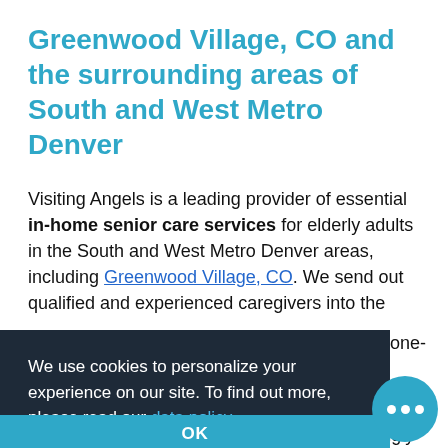Greenwood Village, CO and the surrounding areas of South and West Metro Denver
Visiting Angels is a leading provider of essential in-home senior care services for elderly adults in the South and West Metro Denver areas, including Greenwood Village, CO. We send out qualified and experienced caregivers into the home- [one-]
We use cookies to personalize your experience on our site. To find out more, please read our data policy.
OK
In-home senior care is becoming an increasingly